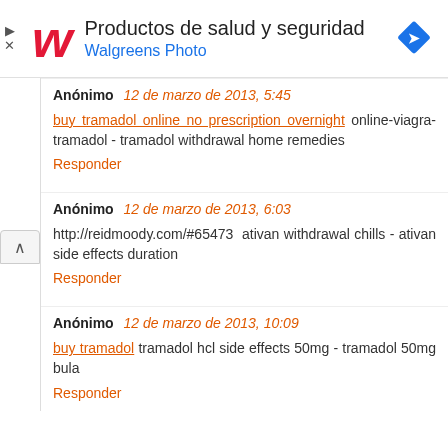[Figure (advertisement): Walgreens ad banner: red cursive W logo, text 'Productos de salud y seguridad' and 'Walgreens Photo' in blue, blue diamond navigation icon on the right, close/skip controls on left]
Anónimo 12 de marzo de 2013, 5:45
buy tramadol online no prescription overnight online-viagra-tramadol - tramadol withdrawal home remedies
Responder
Anónimo 12 de marzo de 2013, 6:03
http://reidmoody.com/#65473 ativan withdrawal chills - ativan side effects duration
Responder
Anónimo 12 de marzo de 2013, 10:09
buy tramadol tramadol hcl side effects 50mg - tramadol 50mg bula
Responder